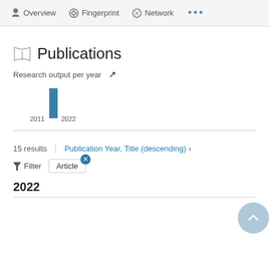Overview | Fingerprint | Network | ...
Publications
Research output per year
[Figure (bar-chart): Research output per year]
15 results  |  Publication Year, Title (descending) >
Filter  Article ×
2022